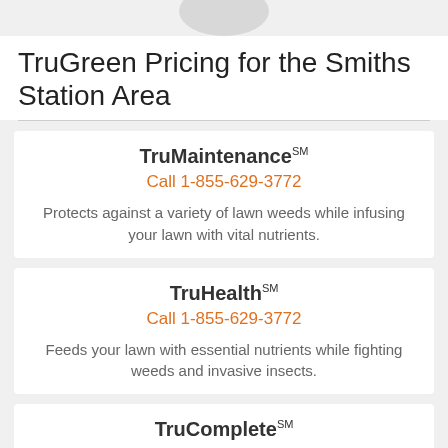[Figure (logo): TruGreen logo (partial, top of page)]
TruGreen Pricing for the Smiths Station Area
TruMaintenanceSM
Call 1-855-629-3772
Protects against a variety of lawn weeds while infusing your lawn with vital nutrients.
TruHealthSM
Call 1-855-629-3772
Feeds your lawn with essential nutrients while fighting weeds and invasive insects.
TruCompleteSM